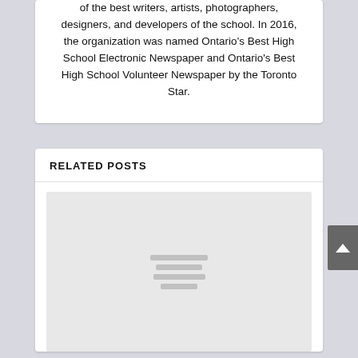of the best writers, artists, photographers, designers, and developers of the school. In 2016, the organization was named Ontario's Best High School Electronic Newspaper and Ontario's Best High School Volunteer Newspaper by the Toronto Star.
RELATED POSTS
[Figure (other): Placeholder thumbnail image with loading indicator lines in grey]